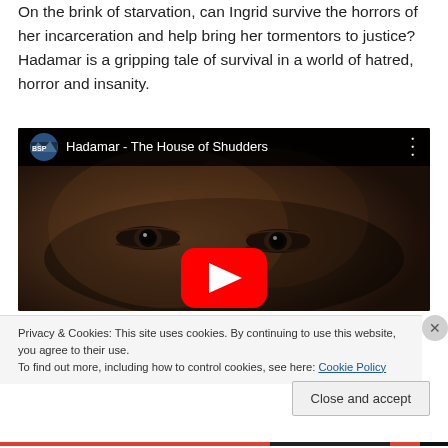On the brink of starvation, can Ingrid survive the horrors of her incarceration and help bring her tormentors to justice? Hadamar is a gripping tale of survival in a world of hatred, horror and insanity.
[Figure (screenshot): YouTube video embed showing 'Hadamar - The House of Shudders' with a close-up of a face, BSP channel logo, and a red play button in the center.]
Privacy & Cookies: This site uses cookies. By continuing to use this website, you agree to their use.
To find out more, including how to control cookies, see here: Cookie Policy